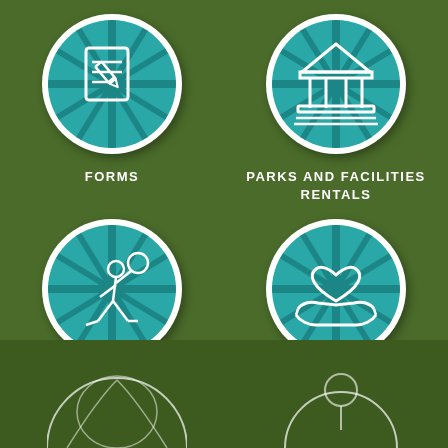[Figure (illustration): Teal circle with white burst lines and a form/document with pencil icon]
FORMS
[Figure (illustration): Teal circle with white burst lines and a pavilion/facility building icon]
PARKS AND FACILITIES RENTALS
[Figure (illustration): Teal circle with white burst lines and a sports player figure icon]
SPORTS SCHEDULES AND STANDINGS
[Figure (illustration): Teal circle with white burst lines and a volunteer heart/hands icon]
VOLUNTEER
[Figure (illustration): Partial illustration of sports/activity figures at bottom of page on darker green background]